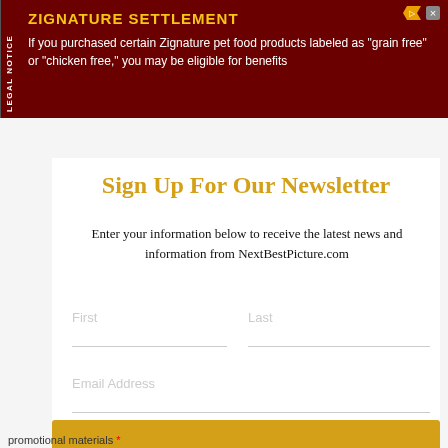[Figure (infographic): Legal notice ad banner for Zignature Settlement on dark red background. Text reads: ZIGNATURE SETTLEMENT - If you purchased certain Zignature pet food products labeled as 'grain free' or 'chicken free,' you may be eligible for benefits]
Sign Up For Our Newsletter
Enter your information below to receive the latest news and information from NextBestPicture.com
First
Last
Email Address
Subscribe
promotional materials *